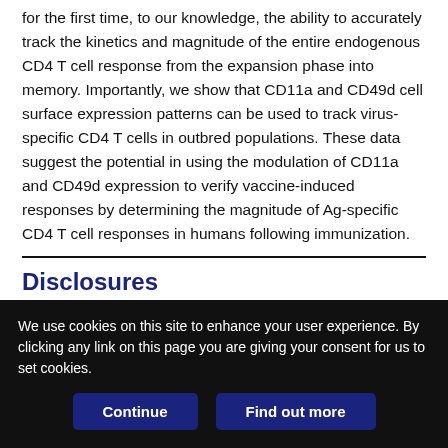for the first time, to our knowledge, the ability to accurately track the kinetics and magnitude of the entire endogenous CD4 T cell response from the expansion phase into memory. Importantly, we show that CD11a and CD49d cell surface expression patterns can be used to track virus-specific CD4 T cells in outbred populations. These data suggest the potential in using the modulation of CD11a and CD49d expression to verify vaccine-induced responses by determining the magnitude of Ag-specific CD4 T cell responses in humans following immunization.
Disclosures
The authors have no financial conflicts of interest.
We use cookies on this site to enhance your user experience. By clicking any link on this page you are giving your consent for us to set cookies.